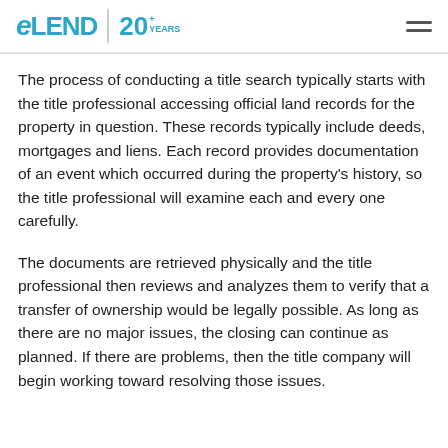eLEND 20+ YEARS
The process of conducting a title search typically starts with the title professional accessing official land records for the property in question. These records typically include deeds, mortgages and liens. Each record provides documentation of an event which occurred during the property’s history, so the title professional will examine each and every one carefully.
The documents are retrieved physically and the title professional then reviews and analyzes them to verify that a transfer of ownership would be legally possible. As long as there are no major issues, the closing can continue as planned. If there are problems, then the title company will begin working toward resolving those issues.